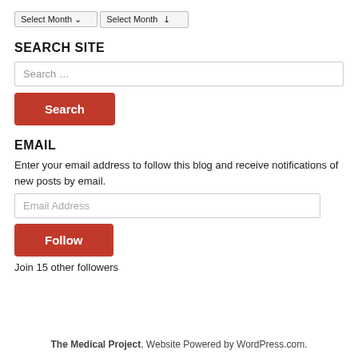Select Month
SEARCH SITE
Search …
Search
EMAIL
Enter your email address to follow this blog and receive notifications of new posts by email.
Email Address
Follow
Join 15 other followers
The Medical Project, Website Powered by WordPress.com.